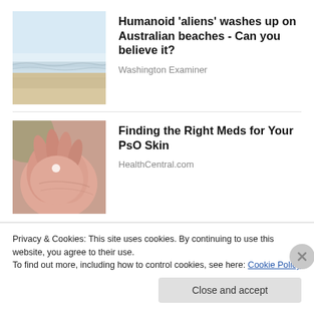[Figure (photo): Beach scene with waves and sandy shore, light blue sky]
Humanoid 'aliens' washes up on Australian beaches - Can you believe it?
Washington Examiner
[Figure (photo): Close-up of hands, pink skin tones, medical/skin context]
Finding the Right Meds for Your PsO Skin
HealthCentral.com
Privacy & Cookies: This site uses cookies. By continuing to use this website, you agree to their use.
To find out more, including how to control cookies, see here: Cookie Policy